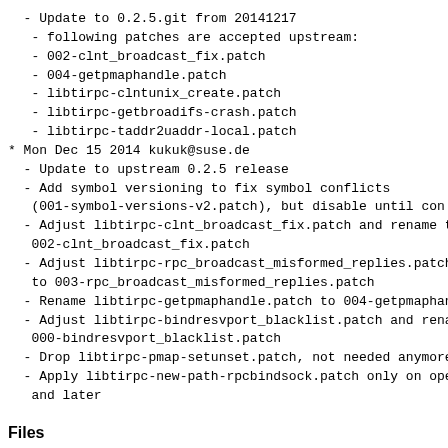- Update to 0.2.5.git from 20141217
- following patches are accepted upstream:
- 002-clnt_broadcast_fix.patch
- 004-getpmaphandle.patch
- libtirpc-clntunix_create.patch
- libtirpc-getbroadifs-crash.patch
- libtirpc-taddr2uaddr-local.patch
* Mon Dec 15 2014 kukuk@suse.de
- Update to upstream 0.2.5 release
- Add symbol versioning to fix symbol conflicts (001-symbol-versions-v2.patch), but disable until con
- Adjust libtirpc-clnt_broadcast_fix.patch and rename t 002-clnt_broadcast_fix.patch
- Adjust libtirpc-rpc_broadcast_misformed_replies.patch to 003-rpc_broadcast_misformed_replies.patch
- Rename libtirpc-getpmaphandle.patch to 004-getpmaphan
- Adjust libtirpc-bindresvport_blacklist.patch and rena 000-bindresvport_blacklist.patch
- Drop libtirpc-pmap-setunset.patch, not needed anymore
- Apply libtirpc-new-path-rpcbindsock.patch only on ope and later
Files
/lib64/libtirpc.so.3
/lib64/libtirpc.so.3.0.0
/usr/share/doc/packages/libtirpc3
/usr/share/doc/packages/libtirpc3/COPYING